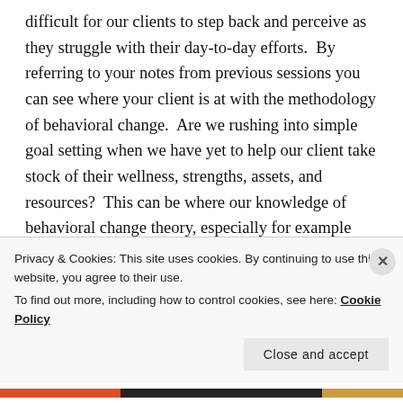difficult for our clients to step back and perceive as they struggle with their day-to-day efforts.  By referring to your notes from previous sessions you can see where your client is at with the methodology of behavioral change.  Are we rushing into simple goal setting when we have yet to help our client take stock of their wellness, strengths, assets, and resources?  This can be where our knowledge of behavioral change theory, especially for example The Transtheoretical Model of Behavior Change, really pays off. (https://www.prochange.com/transtheoretical-model-of-behavior-change)
Privacy & Cookies: This site uses cookies. By continuing to use this website, you agree to their use.
To find out more, including how to control cookies, see here: Cookie Policy